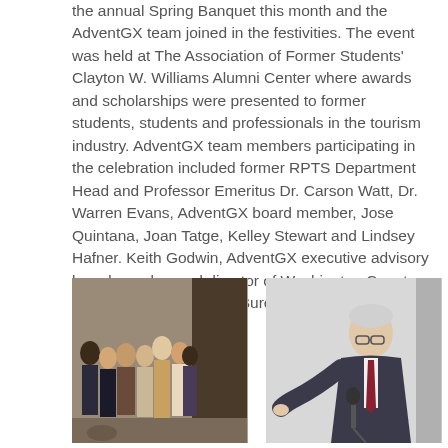the annual Spring Banquet this month and the AdventGX team joined in the festivities. The event was held at The Association of Former Students' Clayton W. Williams Alumni Center where awards and scholarships were presented to former students, students and professionals in the tourism industry. AdventGX team members participating in the celebration included former RPTS Department Head and Professor Emeritus Dr. Carson Watt, Dr. Warren Evans, AdventGX board member, Jose Quintana, Joan Tatge, Kelley Stewart and Lindsey Hafner. Keith Godwin, AdventGX executive advisory board member and director of Washington County Convention and Visitors Bureau also joined the team for the event.
[Figure (photo): Group photo of multiple people standing together at an event, appearing to be at an indoor venue.]
[Figure (photo): A man in a suit speaking at a podium or microphone at an event.]